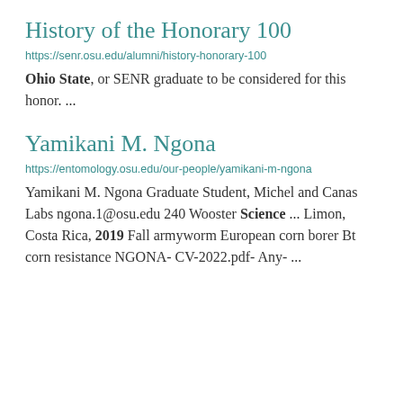History of the Honorary 100
https://senr.osu.edu/alumni/history-honorary-100
Ohio State, or SENR graduate to be considered for this honor. ...
Yamikani M. Ngona
https://entomology.osu.edu/our-people/yamikani-m-ngona
Yamikani M. Ngona Graduate Student, Michel and Canas Labs ngona.1@osu.edu 240 Wooster Science ... Limon, Costa Rica, 2019 Fall armyworm European corn borer Bt corn resistance NGONA- CV-2022.pdf- Any- ...